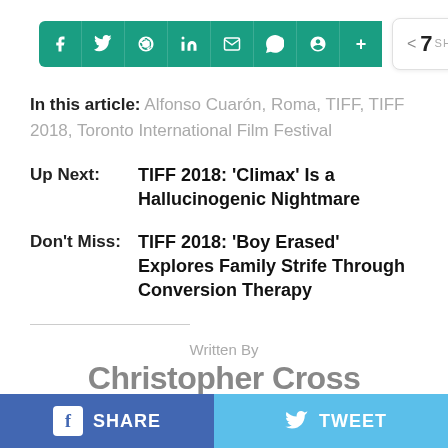[Figure (infographic): Social share bar with teal background icons (Facebook, Twitter, Reddit, LinkedIn, Email, WhatsApp, Pinterest, plus) and a share count badge showing 7 SHARES]
In this article: Alfonso Cuarón, Roma, TIFF, TIFF 2018, Toronto International Film Festival
Up Next: TIFF 2018: 'Climax' Is a Hallucinogenic Nightmare
Don't Miss: TIFF 2018: 'Boy Erased' Explores Family Strife Through Conversion Therapy
Written By
Christopher Cross
[Figure (infographic): Bottom action bar with Facebook SHARE button (blue), Twitter TWEET button (light blue), and more options (ellipsis)]